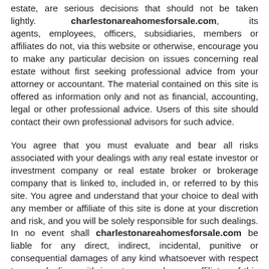estate, are serious decisions that should not be taken lightly. charlestonareahomesforsale.com, its agents, employees, officers, subsidiaries, members or affiliates do not, via this website or otherwise, encourage you to make any particular decision on issues concerning real estate without first seeking professional advice from your attorney or accountant. The material contained on this site is offered as information only and not as financial, accounting, legal or other professional advice. Users of this site should contact their own professional advisors for such advice.
You agree that you must evaluate and bear all risks associated with your dealings with any real estate investor or investment company or real estate broker or brokerage company that is linked to, included in, or referred to by this site. You agree and understand that your choice to deal with any member or affiliate of this site is done at your discretion and risk, and you will be solely responsible for such dealings. In no event shall charlestonareahomesforsale.com be liable for any direct, indirect, incidental, punitive or consequential damages of any kind whatsoever with respect to your dealings with investors, members or affiliates of this site.